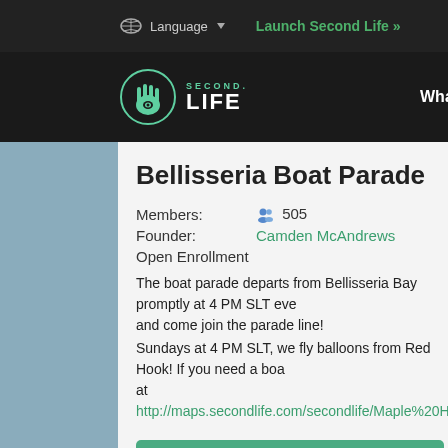Language | Launch Second Life »
Second Life | What Is Second Life? | World Map
Bellisseria Boat Parade
Members: 505
Founder: Camden McAndrews
Open Enrollment
The boat parade departs from Bellisseria Bay promptly at 4 PM SLT every and come join the parade line! Sundays at 4 PM SLT, we fly balloons from Red Hook! If you need a boat at http://maps.secondlife.com/secondlife/Maple%20Heights/196/28/
View Full Profile in Second Life
Share | (social icons)
Link to this page: https://world.secondlife.com/group/c114dd52-4e6b